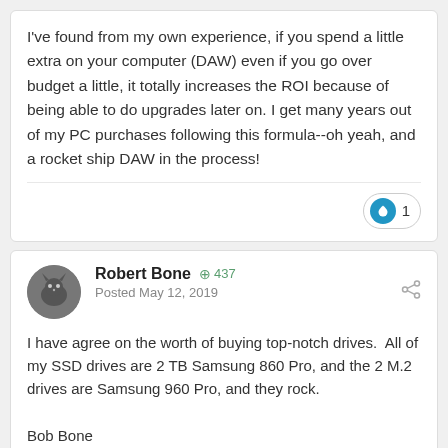I've found from my own experience, if you spend a little extra on your computer (DAW) even if you go over budget a little, it totally increases the ROI because of being able to do upgrades later on. I get many years out of my PC purchases following this formula--oh yeah, and a rocket ship DAW in the process!
Robert Bone  +437
Posted May 12, 2019
I have agree on the worth of buying top-notch drives.  All of my SSD drives are 2 TB Samsung 860 Pro, and the 2 M.2 drives are Samsung 960 Pro, and they rock.

Bob Bone